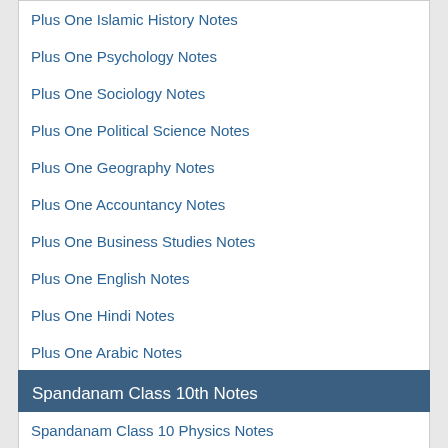Plus One Islamic History Notes
Plus One Psychology Notes
Plus One Sociology Notes
Plus One Political Science Notes
Plus One Geography Notes
Plus One Accountancy Notes
Plus One Business Studies Notes
Plus One English Notes
Plus One Hindi Notes
Plus One Arabic Notes
Plus One Kaithang Notes
Spandanam Class 10th Notes
Spandanam Class 10 Physics Notes
Spandanam Class 10 Social Science Notes